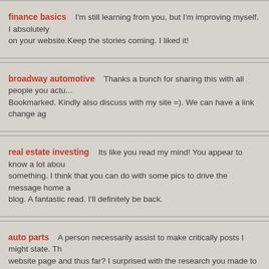finance basics    I'm still learning from you, but I'm improving myself. I absolutely enjoy reading everything that is written on your website.Keep the stories coming. I liked it!
broadway automotive    Thanks a bunch for sharing this with all people you actually know what you are speaking about! Bookmarked. Kindly also discuss with my site =). We can have a link change ag
real estate investing    Its like you read my mind! You appear to know a lot about this, like you wrote the book in it or something. I think that you can do with some pics to drive the message home a bit, but instead of that, this is fantastic blog. A fantastic read. I'll definitely be back.
auto parts    A person necessarily assist to make critically posts I might state. This is the first time I frequented your website page and thus far? I surprised with the research you made to create this particular publish amazing. Wonderful task!
best automotive    What i don't understood is in truth how you are not actually a lot more well-liked than you may be right now. You are so intelligent. You recognize thus significantly when it comes to th